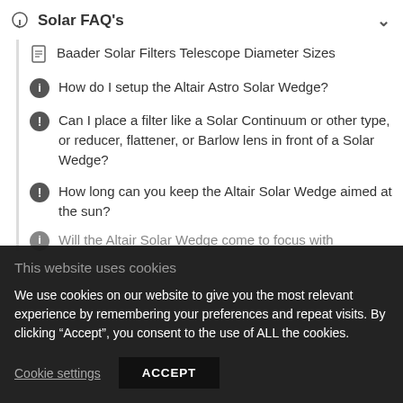Solar FAQ's
Baader Solar Filters Telescope Diameter Sizes
How do I setup the Altair Astro Solar Wedge?
Can I place a filter like a Solar Continuum or other type, or reducer, flattener, or Barlow lens in front of a Solar Wedge?
How long can you keep the Altair Solar Wedge aimed at the sun?
Will the Altair Solar Wedge come to focus with
This website uses cookies
We use cookies on our website to give you the most relevant experience by remembering your preferences and repeat visits. By clicking “Accept”, you consent to the use of ALL the cookies.
Cookie settings
ACCEPT